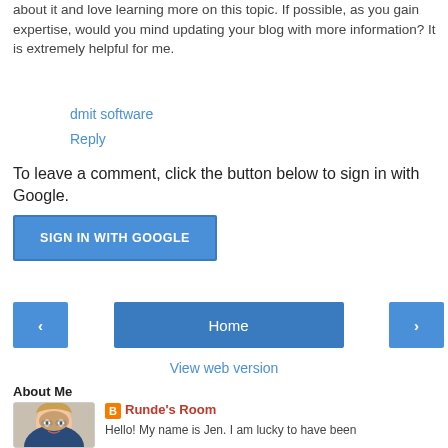about it and love learning more on this topic. If possible, as you gain expertise, would you mind updating your blog with more information? It is extremely helpful for me.
dmit software
Reply
To leave a comment, click the button below to sign in with Google.
[Figure (other): Blue button labeled SIGN IN WITH GOOGLE]
[Figure (other): Navigation bar with left arrow button, Home button, and right arrow button]
View web version
About Me
[Figure (photo): Profile photo of a woman with glasses and blonde hair]
Runde's Room
Hello! My name is Jen. I am lucky to have been